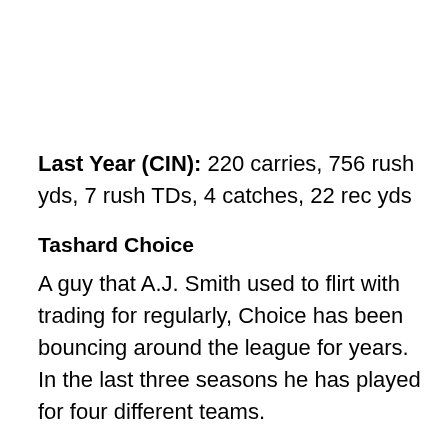Last Year (CIN): 220 carries, 756 rush yds, 7 rush TDs, 4 catches, 22 rec yds
Tashard Choice
A guy that A.J. Smith used to flirt with trading for regularly, Choice has been bouncing around the league for years. In the last three seasons he has played for four different teams.
Choice is a solid veteran presence. He fills the hole left by Woodhead more than the one left by Mathews, but either way he can help Donald Brown and the offense.